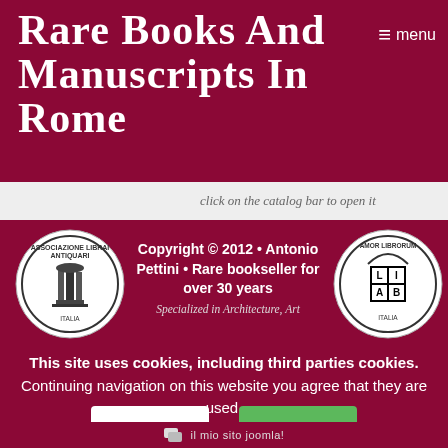Rare Books and Manuscripts in Rome
≡ menu
click on the catalog bar to open it
[Figure (logo): Associazione Librai Antiquari circular seal logo in black and white]
Copyright © 2012 • Antonio Pettini • Rare bookseller for over 30 years Specialized in Architecture, Art
[Figure (logo): LILAB Amor Librorum circular seal logo in black and white]
This site uses cookies, including third parties cookies. Continuing navigation on this website you agree that they are used.
More
Close
[Figure (logo): IL mio sito Joomla! logo icon]